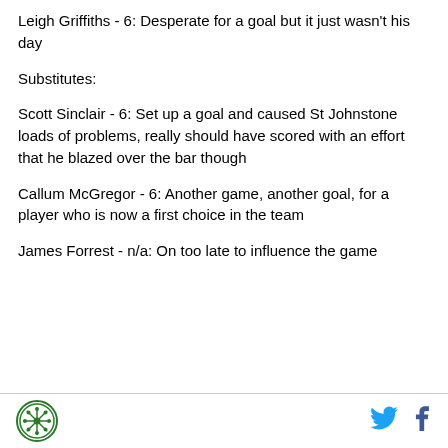Leigh Griffiths - 6: Desperate for a goal but it just wasn't his day
Substitutes:
Scott Sinclair - 6: Set up a goal and caused St Johnstone loads of problems, really should have scored with an effort that he blazed over the bar though
Callum McGregor - 6: Another game, another goal, for a player who is now a first choice in the team
James Forrest - n/a: On too late to influence the game
[Logo] [Twitter] [Facebook]